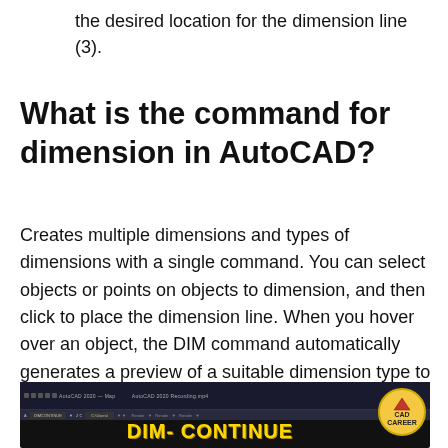the desired location for the dimension line (3).
What is the command for dimension in AutoCAD?
Creates multiple dimensions and types of dimensions with a single command. You can select objects or points on objects to dimension, and then click to place the dimension line. When you hover over an object, the DIM command automatically generates a preview of a suitable dimension type to use.
[Figure (screenshot): AutoCAD interface screenshot showing the DIM-CONTINUE command with yellow bold text on a dark background, with CAD Career logo badge in the top right corner.]